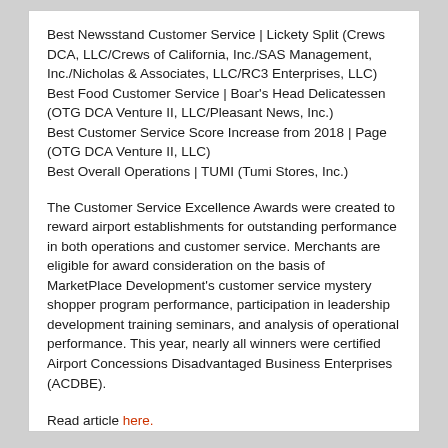Best Newsstand Customer Service | Lickety Split (Crews DCA, LLC/Crews of California, Inc./SAS Management, Inc./Nicholas & Associates, LLC/RC3 Enterprises, LLC)
Best Food Customer Service | Boar's Head Delicatessen (OTG DCA Venture II, LLC/Pleasant News, Inc.)
Best Customer Service Score Increase from 2018 | Page (OTG DCA Venture II, LLC)
Best Overall Operations | TUMI (Tumi Stores, Inc.)
The Customer Service Excellence Awards were created to reward airport establishments for outstanding performance in both operations and customer service. Merchants are eligible for award consideration on the basis of MarketPlace Development's customer service mystery shopper program performance, participation in leadership development training seminars, and analysis of operational performance. This year, nearly all winners were certified Airport Concessions Disadvantaged Business Enterprises (ACDBE).
Read article here.